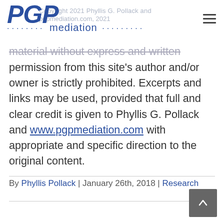PGP mediation — Copyright 2021 Phyllis G. Pollack and pgpmediation.com, 2021
material without express and written permission from this site's author and/or owner is strictly prohibited. Excerpts and links may be used, provided that full and clear credit is given to Phyllis G. Pollack and www.pgpmediation.com with appropriate and specific direction to the original content.
By Phyllis Pollack | January 26th, 2018 | Research